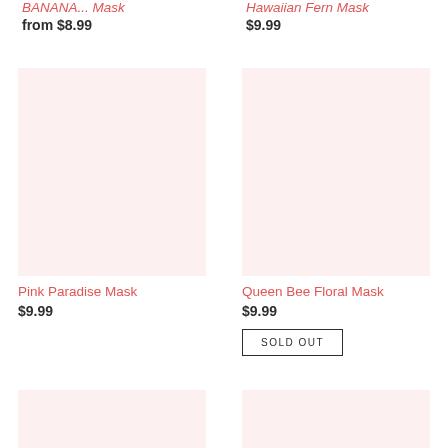BANANA... Mask
from $8.99
Hawaiian Fern Mask
$9.99
[Figure (photo): Pink Paradise Mask product image placeholder - light pink background]
[Figure (photo): Queen Bee Floral Mask product image placeholder - light pink background]
Pink Paradise Mask
$9.99
Queen Bee Floral Mask
$9.99
SOLD OUT
[Figure (photo): Bottom left product image placeholder - light pink background]
[Figure (photo): Bottom right product image placeholder - light pink background]